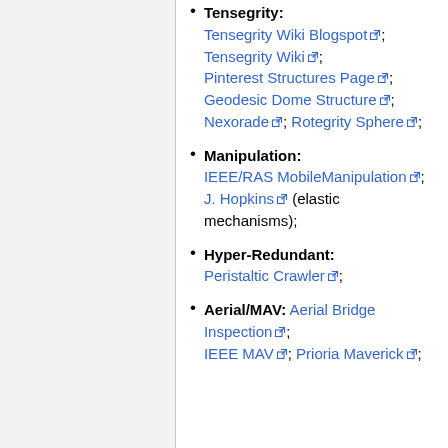Tensegrity: Tensegrity Wiki Blogspot; Tensegrity Wiki; Pinterest Structures Page; Geodesic Dome Structure; Nexorade; Rotegrity Sphere;
Manipulation: IEEE/RAS MobileManipulation; J. Hopkins (elastic mechanisms);
Hyper-Redundant: Peristaltic Crawler;
Aerial/MAV: Aerial Bridge Inspection; IEEE MAV; Prioria Maverick;